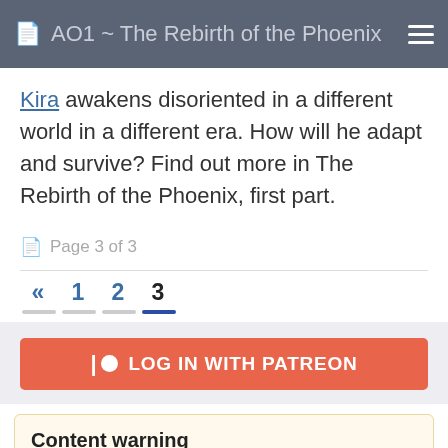AO1 ~ The Rebirth of the Phoenix
Kira awakens disoriented in a different world in a different era. How will he adapt and survive? Find out more in The Rebirth of the Phoenix, first part.
Page 3 of 3
« 1 2 3
LOG IN WITH PATREON
Content warning
The Space Highways series contains and discusses